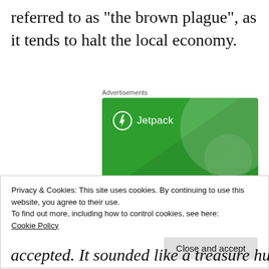referred to as “the brown plague”, as it tends to halt the local economy.
Advertisements
[Figure (screenshot): Jetpack advertisement banner with green background showing 'The best real-time WordPress backup plugin' with Jetpack logo]
Privacy & Cookies: This site uses cookies. By continuing to use this website, you agree to their use.
To find out more, including how to control cookies, see here:
Cookie Policy
Close and accept
accepted. It sounded like a treasure hunt, so